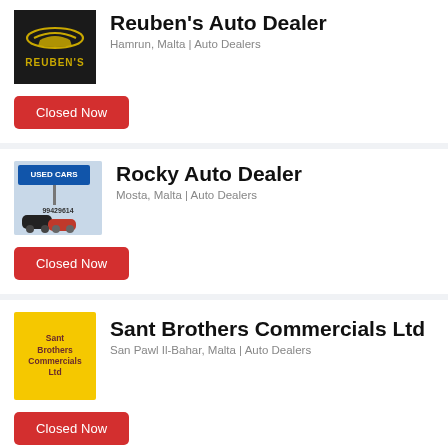[Figure (logo): Reuben's Auto Dealer logo — black background with gold car silhouette and REUBEN'S text]
Reuben's Auto Dealer
Hamrun, Malta | Auto Dealers
Closed Now
[Figure (logo): Rocky Auto Dealer logo — Used Cars banner sign with cars in foreground and phone number 99429614]
Rocky Auto Dealer
Mosta, Malta | Auto Dealers
Closed Now
[Figure (logo): Sant Brothers Commercials Ltd logo — yellow background with dark red text]
Sant Brothers Commercials Ltd
San Pawl Il-Bahar, Malta | Auto Dealers
Closed Now